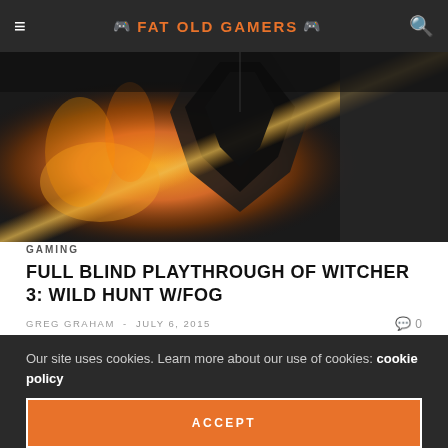FAT OLD GAMERS
[Figure (photo): Hero image showing a dramatic scene from The Witcher 3: Wild Hunt with fire and a dark armored figure]
GAMING
FULL BLIND PLAYTHROUGH OF WITCHER 3: WILD HUNT W/FOG
GREG GRAHAM  -  JULY 6, 2015      0
An epic RPG in a vast open world with a living, breathing ecosystem. Join the live playthrough Mondays and Wednesdays and see it in
Our site uses cookies. Learn more about our use of cookies: cookie policy
ACCEPT